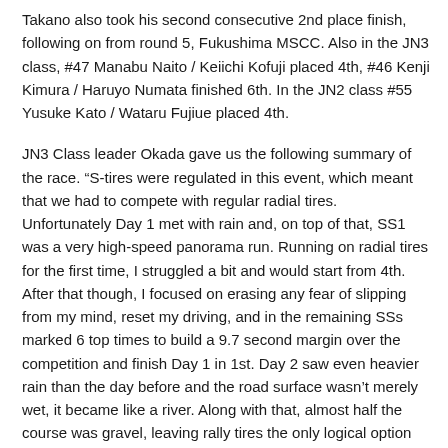Takano also took his second consecutive 2nd place finish, following on from round 5, Fukushima MSCC. Also in the JN3 class, #47 Manabu Naito / Keiichi Kofuji placed 4th, #46 Kenji Kimura / Haruyo Numata finished 6th. In the JN2 class #55 Yusuke Kato / Wataru Fujiue placed 4th.
JN3 Class leader Okada gave us the following summary of the race. “S-tires were regulated in this event, which meant that we had to compete with regular radial tires. Unfortunately Day 1 met with rain and, on top of that, SS1 was a very high-speed panorama run. Running on radial tires for the first time, I struggled a bit and would start from 4th. After that though, I focused on erasing any fear of slipping from my mind, reset my driving, and in the remaining SSs marked 6 top times to build a 9.7 second margin over the competition and finish Day 1 in 1st. Day 2 saw even heavier rain than the day before and the road surface wasn’t merely wet, it became like a river. Along with that, almost half the course was gravel, leaving rally tires the only logical option for me. This tire choice turned out to be the right decision. Under the heavy downpour, on paved or dirt road, I was able to drive to my heart's content and maintain my overall lead in the first loop. However, I ultimately finished it in 2nd and with 23-year old (younger than my kid) “Kodora” saying, “I